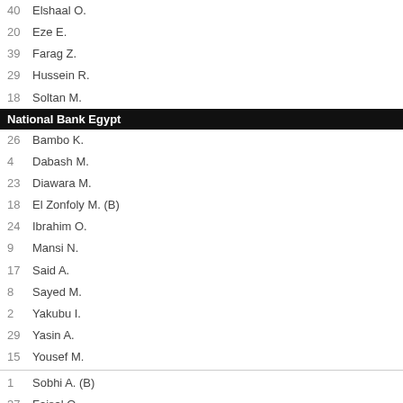40  Elshaal O.
20  Eze E.
39  Farag Z.
29  Hussein R.
18  Soltan M.
National Bank Egypt
26  Bambo K.
4  Dabash M.
23  Diawara M.
18  El Zonfoly M. (B)
24  Ibrahim O.
9  Mansi N.
17  Said A.
8  Sayed M.
2  Yakubu I.
29  Yasin A.
15  Yousef M.
1  Sobhi A. (B)
37  Faisal O.
19  Farid F.
5  Fathi M.
30  Hamed M.
7  Kaoud M.
14  Laaba M.
20  Medhat A.
10  Yasser A.
Kurzy